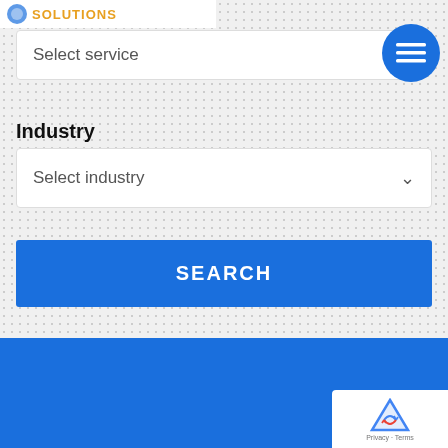[Figure (logo): Partial logo with 'SOLUTIONS' text in orange]
Select service
[Figure (other): Blue circular button with hamburger/list icon]
Industry
Select industry
SEARCH
[Figure (other): Blue background section]
[Figure (other): reCAPTCHA badge with Privacy and Terms links]